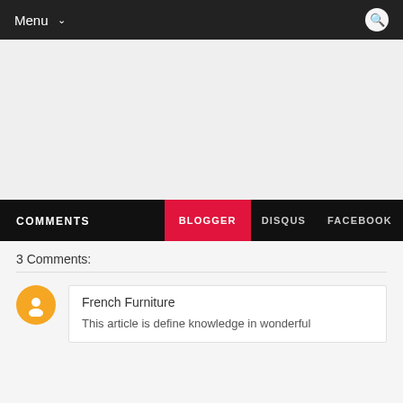Menu
[Figure (screenshot): Gray empty area placeholder for advertisement or content]
COMMENTS | BLOGGER | DISQUS | FACEBOOK
3 Comments:
French Furniture
This article is define knowledge in wonderful